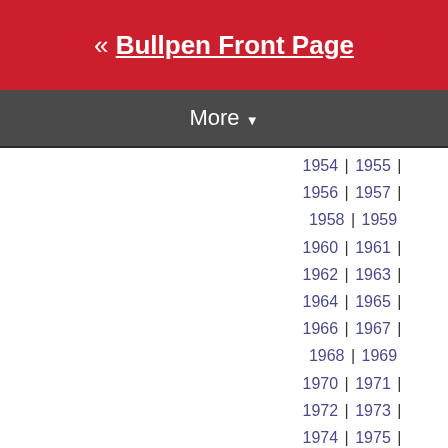« Bullpen Front Page
More ▼
1954 | 1955 |
1956 | 1957 |
1958 | 1959
1960 | 1961 |
1962 | 1963 |
1964 | 1965 |
1966 | 1967 |
1968 | 1969
1970 | 1971 |
1972 | 1973 |
1974 | 1975 |
1976 | 1977 |
1978 | 1979
1980 | 1981 |
1982 | 1983 |
1984 | 1985 |